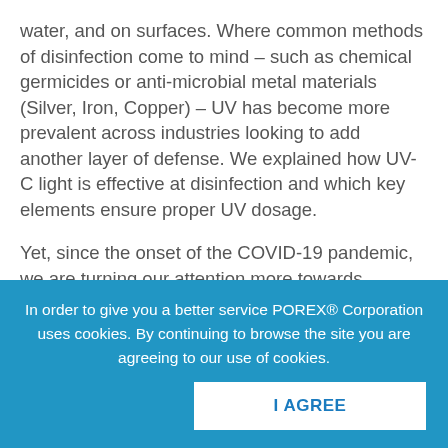water, and on surfaces. Where common methods of disinfection come to mind – such as chemical germicides or anti-microbial metal materials (Silver, Iron, Copper) – UV has become more prevalent across industries looking to add another layer of defense. We explained how UV-C light is effective at disinfection and which key elements ensure proper UV dosage.
Yet, since the onset of the COVID-19 pandemic, we are turning our attention more towards disinfection methods for airborne infectious diseases, which many people
In order to give you a better service POREX® Corporation uses cookies. By continuing to browse the site you are agreeing to our use of cookies.
I AGREE